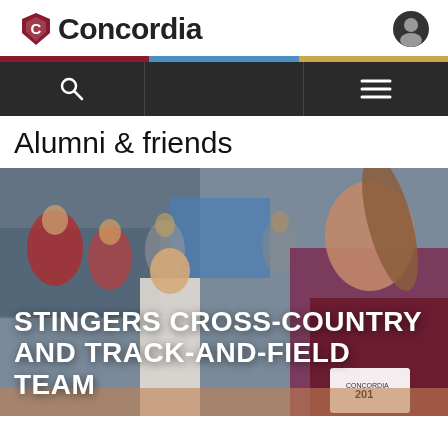Concordia
Alumni & friends
[Figure (photo): A Concordia Stingers runner wearing maroon and gold jersey with bib number 201, running in an indoor track-and-field meet with spectators in the background. Overlaid text reads: STINGERS CROSS-COUNTRY AND TRACK-AND-FIELD TEAM]